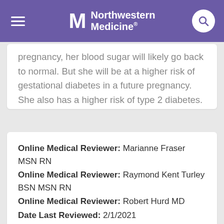Northwestern Medicine
pregnancy, her blood sugar will likely go back to normal. But she will be at a higher risk of gestational diabetes in a future pregnancy. She also has a higher risk of type 2 diabetes.
Online Medical Reviewer: Marianne Fraser MSN RN
Online Medical Reviewer: Raymond Kent Turley BSN MSN RN
Online Medical Reviewer: Robert Hurd MD
Date Last Reviewed: 2/1/2021
© 2000-2022 The StayWell Company, LLC. All rights reserved. This information is not intended as a substitute for professional medical care. Always follow your healthcare